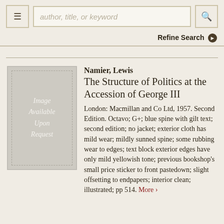author, title, or keyword [search bar]
Refine Search
Namier, Lewis
The Structure of Politics at the Accession of George III
London: Macmillan and Co Ltd, 1957. Second Edition. Octavo; G+; blue spine with gilt text; second edition; no jacket; exterior cloth has mild wear; mildly sunned spine; some rubbing wear to edges; text block exterior edges have only mild yellowish tone; previous bookshop's small price sticker to front pastedown; slight offsetting to endpapers; interior clean; illustrated; pp 514. More >